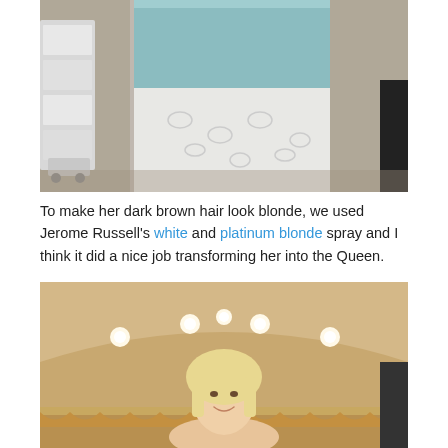[Figure (photo): A lace curtain or fabric hanging, with storage bins visible in the background, in what appears to be an indoor setting.]
To make her dark brown hair look blonde, we used Jerome Russell's white and platinum blonde spray and I think it did a nice job transforming her into the Queen.
[Figure (photo): A woman with blonde hair smiling in what appears to be an indoor venue with arched ceiling and overhead lights.]